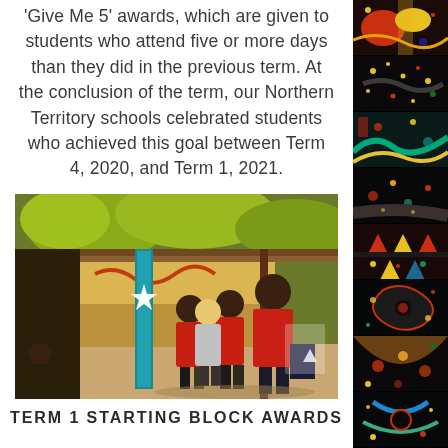'Give Me 5' awards, which are given to students who attend five or more days than they did in the previous term. At the conclusion of the term, our Northern Territory schools celebrated students who achieved this goal between Term 4, 2020, and Term 1, 2021.
[Figure (photo): Students in red uniforms standing together inside a school building, with a teal/blue flag or banner visible. Trees visible in the background through an open area. One child sits separately on the left.]
TERM 1 STARTING BLOCK AWARDS